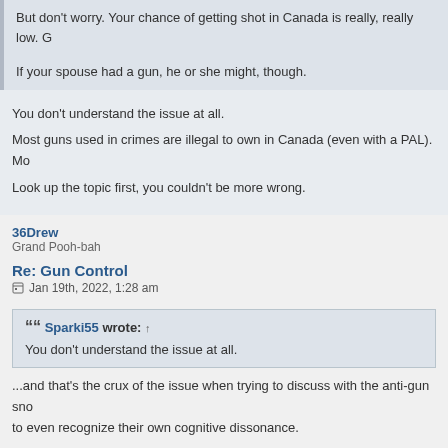But don't worry. Your chance of getting shot in Canada is really, really low. G
If your spouse had a gun, he or she might, though.
You don't understand the issue at all.
Most guns used in crimes are illegal to own in Canada (even with a PAL). Mo
Look up the topic first, you couldn't be more wrong.
36Drew
Grand Pooh-bah
Re: Gun Control
Jan 19th, 2022, 1:28 am
Sparki55 wrote: ↑
You don't understand the issue at all.
...and that's the crux of the issue when trying to discuss with the anti-gun sno to even recognize their own cognitive dissonance.
I'd like to change your mind, but I don't have a fresh diaper.